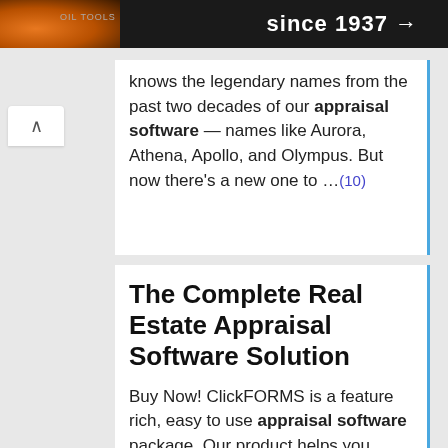[Figure (photo): Dark banner with orange glow on left side, white text reading 'since 1937 →' and small 'OIL TOOLS' label]
knows the legendary names from the past two decades of our appraisal software — names like Aurora, Athena, Apollo, and Olympus. But now there's a new one to …(10)
The Complete Real Estate Appraisal Software Solution
Buy Now! ClickFORMS is a feature rich, easy to use appraisal software package. Our product helps you acquire, analyze, present, store, and